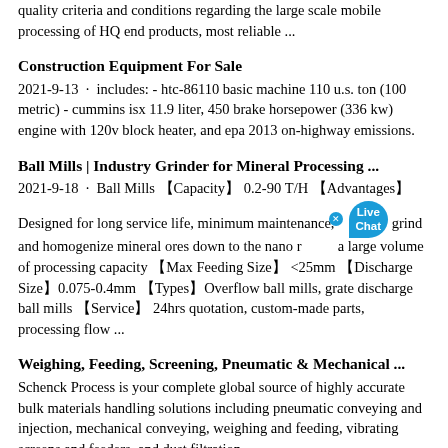quality criteria and conditions regarding the large scale mobile processing of HQ end products, most reliable ...
Construction Equipment For Sale
2021-9-13 · includes: - htc-86110 basic machine 110 u.s. ton (100 metric) - cummins isx 11.9 liter, 450 brake horsepower (336 kw) engine with 120v block heater, and epa 2013 on-highway emissions.
Ball Mills | Industry Grinder for Mineral Processing ...
2021-9-18 · Ball Mills 【Capacity】 0.2-90 T/H 【Advantages】 Designed for long service life, minimum maintenance, grind and homogenize mineral ores down to the nano range with a large volume of processing capacity 【Max Feeding Size】 <25mm 【Discharge Size】0.075-0.4mm 【Types】Overflow ball mills, grate discharge ball mills 【Service】 24hrs quotation, custom-made parts, processing flow ...
Weighing, Feeding, Screening, Pneumatic & Mechanical ...
Schenck Process is your complete global source of highly accurate bulk materials handling solutions including pneumatic conveying and injection, mechanical conveying, weighing and feeding, vibrating screens and feeders, and dust filtration
Sarkari Yojana | सरकारी योजना ...
2021-4-2 · Sarkari Yojana | सरकारी योजना | प्रधानमंत्री व राज्य सरकार की योजनाएँ